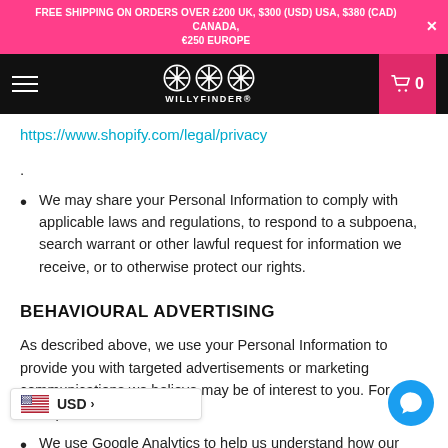FREE SHIPPING ON ORDERS OVER £200 UK, $300 (USD) USA, $380 (CAD) CANADA, €250 EUROPE
[Figure (logo): WillyFinder logo with three asterisk/snowflake icons and brand name text on black navigation bar]
https://www.shopify.com/legal/privacy.
We may share your Personal Information to comply with applicable laws and regulations, to respond to a subpoena, search warrant or other lawful request for information we receive, or to otherwise protect our rights.
BEHAVIOURAL ADVERTISING
As described above, we use your Personal Information to provide you with targeted advertisements or marketing communications we believe may be of interest to you. For example:
We use Google Analytics to help us understand how our customers use the Site. You can read more